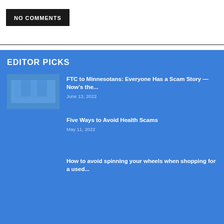NO COMMENTS
EDITOR PICKS
FTC to Minnesotans: Everyone Has a Scam Story — Now's the...
June 13, 2022
Five Ways to Avoid Health Scams
May 11, 2022
How to avoid spinning your wheels when shopping for a used...